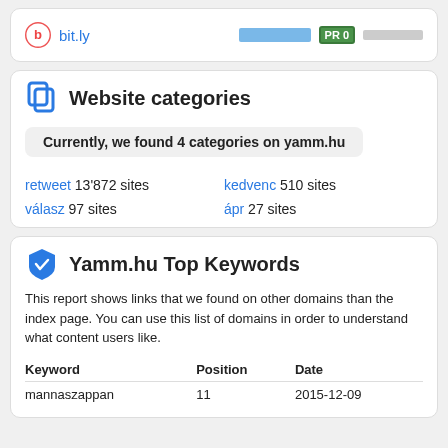[Figure (other): bit.ly logo icon, link text, a blue progress bar and a green PR 0 badge with gray bar]
Website categories
Currently, we found 4 categories on yamm.hu
retweet 13'872 sites
kedvenc 510 sites
válasz 97 sites
ápr 27 sites
Yamm.hu Top Keywords
This report shows links that we found on other domains than the index page. You can use this list of domains in order to understand what content users like.
| Keyword | Position | Date |
| --- | --- | --- |
| mannaszappan | 11 | 2015-12-09 |